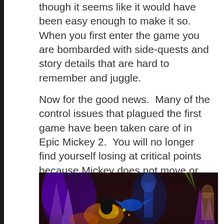though it seems like it would have been easy enough to make it so.  When you first enter the game you are bombarded with side-quests and story details that are hard to remember and juggle.
Now for the good news.  Many of the control issues that plagued the first game have been taken care of in Epic Mickey 2.  You will no longer find yourself losing at critical points because Mickey does not move or paint in the directions you expect him to.  The movement is smooth, and game-play is very enjoyable.
[Figure (photo): A colorful, neon-lit scene from Epic Mickey 2 game showing Mickey Mouse and other characters surrounded by glowing purple, blue, and orange fantasy creatures and structures against a dark background.]